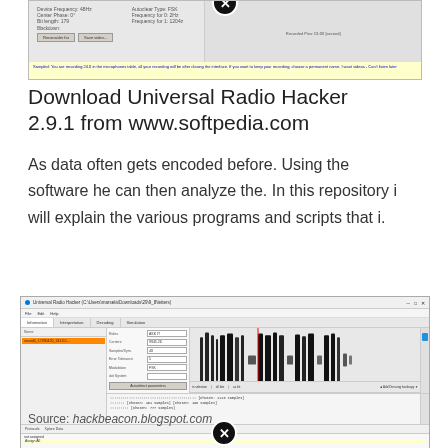[Figure (screenshot): Top portion of a software window screenshot showing audio settings with fields for Device Frequency, Center Phase, Bit length, Autoclear Type, Frequency for 0/1. Yellow information bar at bottom. A close/error badge overlaid.]
Download Universal Radio Hacker 2.9.1 from www.softpedia.com
As data often gets encoded before. Using the software he can then analyze the. In this repository i will explain the various programs and scripts that i.
[Figure (screenshot): Universal Radio Hacker application window showing a signal file loaded, with waveform display, signal parameters (Roles, Carriers, Samples/Symbol, Error Tolerance, Modulation), protocol log showing sample counts, and a file list in sidebar.]
Source: hackbeacon.blogspot.com